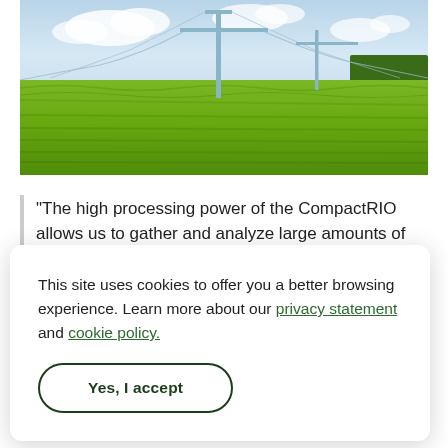[Figure (photo): Aerial photograph of a bright green agricultural field (likely soybean or corn crop) with tall electrical power line towers and cables running across the landscape. Blue sky with clouds in the background and trees on the right edge.]
"The high processing power of the CompactRIO allows us to gather and analyze large amounts of
This site uses cookies to offer you a better browsing experience. Learn more about our privacy statement and cookie policy.
Yes, I accept